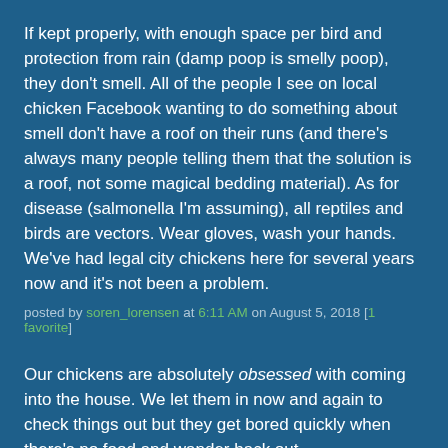If kept properly, with enough space per bird and protection from rain (damp poop is smelly poop), they don't smell. All of the people I see on local chicken Facebook wanting to do something about smell don't have a roof on their runs (and there's always many people telling them that the solution is a roof, not some magical bedding material). As for disease (salmonella I'm assuming), all reptiles and birds are vectors. Wear gloves, wash your hands. We've had legal city chickens here for several years now and it's not been a problem.
posted by soren_lorensen at 6:11 AM on August 5, 2018 [1 favorite]
Our chickens are absolutely obsessed with coming into the house. We let them in now and again to check things out but they get bored quickly when there's no food and wander back out.
posted by tommasz at 6:15 AM on August 5, 2018